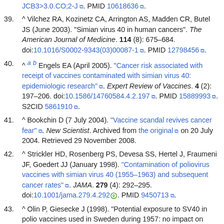39. ^ Vilchez RA, Kozinetz CA, Arrington AS, Madden CR, Butel JS (June 2003). "Simian virus 40 in human cancers". The American Journal of Medicine. 114 (8): 675–684. doi:10.1016/S0002-9343(03)00087-1. PMID 12798456.
40. ^ a b Engels EA (April 2005). "Cancer risk associated with receipt of vaccines contaminated with simian virus 40: epidemiologic research". Expert Review of Vaccines. 4 (2): 197–206. doi:10.1586/14760584.4.2.197. PMID 15889993. S2CID 5861910.
41. ^ Bookchin D (7 July 2004). "Vaccine scandal revives cancer fear". New Scientist. Archived from the original on 20 July 2004. Retrieved 29 November 2008.
42. ^ Strickler HD, Rosenberg PS, Devesa SS, Hertel J, Fraumeni JF, Goedert JJ (January 1998). "Contamination of poliovirus vaccines with simian virus 40 (1955–1963) and subsequent cancer rates". JAMA. 279 (4): 292–295. doi:10.1001/jama.279.4.292. PMID 9450713.
43. ^ Olin P, Giesecke J (1998). "Potential exposure to SV40 in polio vaccines used in Sweden during 1957: no impact on cancer incidence rates 1960 to 1993". Developments in Biological Standardization. 94: 227–233.